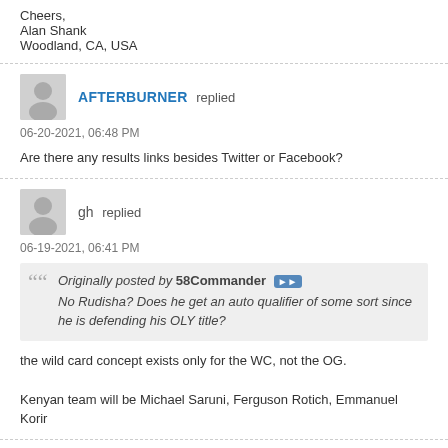Cheers,
Alan Shank
Woodland, CA, USA
AFTERBURNER replied
06-20-2021, 06:48 PM
Are there any results links besides Twitter or Facebook?
gh replied
06-19-2021, 06:41 PM
Originally posted by 58Commander
No Rudisha? Does he get an auto qualifier of some sort since he is defending his OLY title?
the wild card concept exists only for the WC, not the OG.
Kenyan team will be Michael Saruni, Ferguson Rotich, Emmanuel Korir